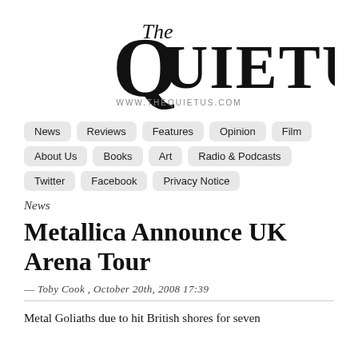[Figure (logo): The Quietus logo with serif lettering and www.thequietus.com tagline]
News
Reviews
Features
Opinion
Film
About Us
Books
Art
Radio & Podcasts
Twitter
Facebook
Privacy Notice
News
Metallica Announce UK Arena Tour
— Toby Cook , October 20th, 2008 17:39
Metal Goliaths due to hit British shores for seven